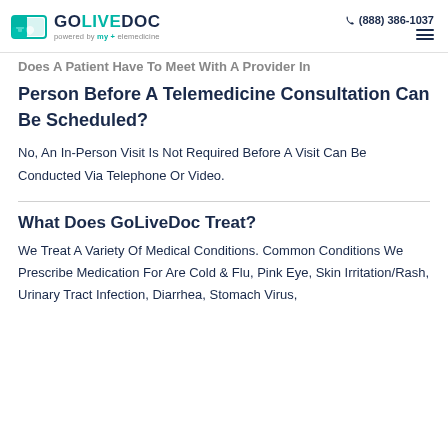GOLIVEDOC powered by my + elemedicine | (888) 386-1037
Does A Patient Have To Meet With A Provider In Person Before A Telemedicine Consultation Can Be Scheduled?
No, An In-Person Visit Is Not Required Before A Visit Can Be Conducted Via Telephone Or Video.
What Does GoLiveDoc Treat?
We Treat A Variety Of Medical Conditions. Common Conditions We Prescribe Medication For Are Cold & Flu, Pink Eye, Skin Irritation/Rash, Urinary Tract Infection, Diarrhea, Stomach Virus,